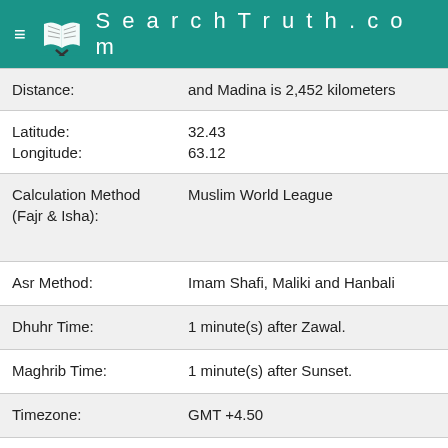≡  SearchTruth.com
| Field | Value |
| --- | --- |
| Distance: | and Madina is 2,452 kilometers |
| Latitude:
Longitude: | 32.43
63.12 |
| Calculation Method
(Fajr & Isha): | Muslim World League |
| Asr Method: | Imam Shafi, Maliki and Hanbali |
| Dhuhr Time: | 1 minute(s) after Zawal. |
| Maghrib Time: | 1 minute(s) after Sunset. |
| Timezone: | GMT +4.50 |
| Daylight
Savings: | No |
Click here to Change